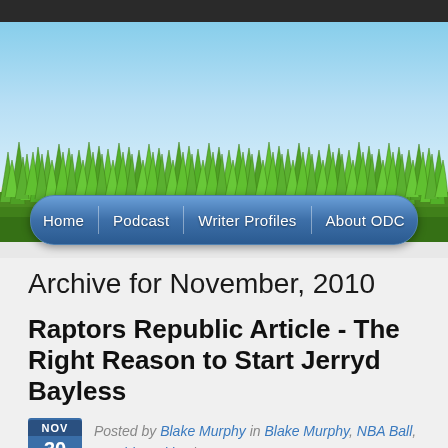[Figure (illustration): Website header with blue sky background and green grass in the foreground]
Home | Podcast | Writer Profiles | About ODC
Archive for November, 2010
Raptors Republic Article - The Right Reasons to Start Jerryd Bayless
Posted by Blake Murphy in Blake Murphy, NBA Ball, Outside Writing | No Comments
I wrote a piece for Raptors Republic, positing that Bayless should be moved...